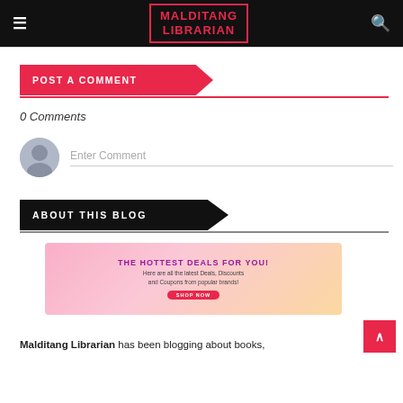≡  MALDITANG LIBRARIAN  🔍
POST A COMMENT
0 Comments
Enter Comment
ABOUT THIS BLOG
[Figure (infographic): Advertisement banner: THE HOTTEST DEALS FOR YOU! Here are all the latest Deals, Discounts and Coupons from popular brands! SHOP NOW]
Malditang Librarian has been blogging about books,